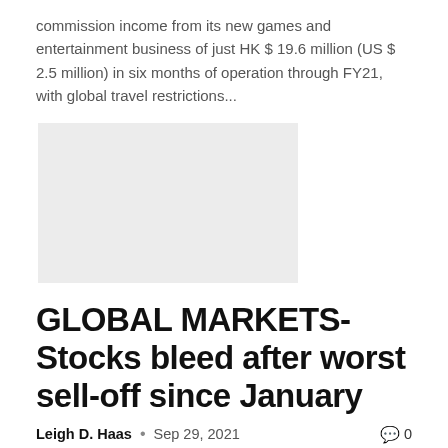commission income from its new games and entertainment business of just HK $ 19.6 million (US $ 2.5 million) in six months of operation through FY21, with global travel restrictions...
[Figure (photo): Gray placeholder image for an article thumbnail]
GLOBAL MARKETS-Stocks bleed after worst sell-off since January
Leigh D. Haas  •  Sep 29, 2021   0
...